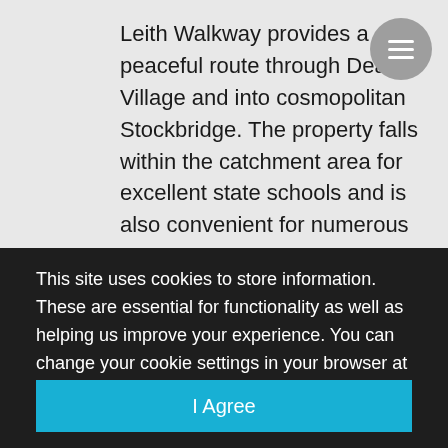Leith Walkway provides a peaceful route through Dean Village and into cosmopolitan Stockbridge. The property falls within the catchment area for excellent state schools and is also convenient for numerous independent schools, particularly ESMS and St George's School for Girls. The area benefits from ideal bus links into the city centre:
This site uses cookies to store information. These are essential for functionality as well as helping us improve your experience. You can change your cookie settings in your browser at any time. Find out more by reading our Privacy Policy.
I Agree
Privacy Policy